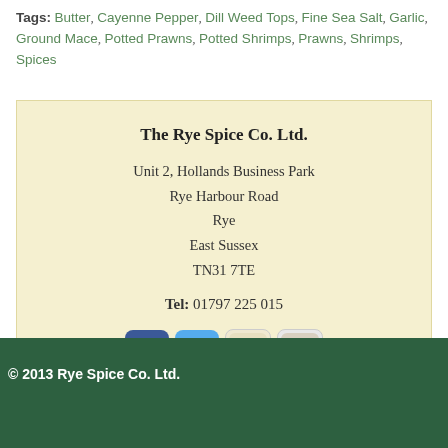Tags: Butter, Cayenne Pepper, Dill Weed Tops, Fine Sea Salt, Garlic, Ground Mace, Potted Prawns, Potted Shrimps, Prawns, Shrimps, Spices
The Rye Spice Co. Ltd.
Unit 2, Hollands Business Park
Rye Harbour Road
Rye
East Sussex
TN31 7TE

Tel: 01797 225 015
[Figure (other): Social media icons: Facebook, Twitter, a shrimp/food icon, and a pen/edit icon]
© 2013 Rye Spice Co. Ltd.